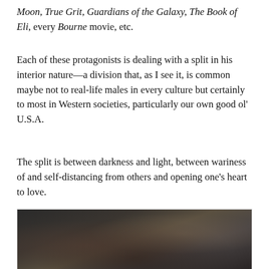Moon, True Grit, Guardians of the Galaxy, The Book of Eli, every Bourne movie, etc.
Each of these protagonists is dealing with a split in his interior nature—a division that, as I see it, is common maybe not to real-life males in every culture but certainly to most in Western societies, particularly our own good ol' U.S.A.
The split is between darkness and light, between wariness of and self-distancing from others and opening one's heart to love.
[Figure (photo): A movie scene showing a woman with dark hair and a figure holding a blade or knife, in a dark dramatic setting]